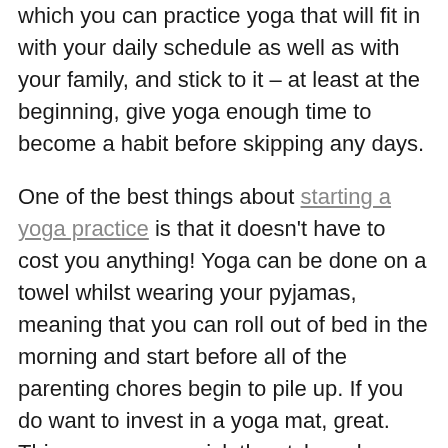which you can practice yoga that will fit in with your daily schedule as well as with your family, and stick to it – at least at the beginning, give yoga enough time to become a habit before skipping any days.
One of the best things about starting a yoga practice is that it doesn't have to cost you anything! Yoga can be done on a towel whilst wearing your pyjamas, meaning that you can roll out of bed in the morning and start before all of the parenting chores begin to pile up. If you do want to invest in a yoga mat, great. This way you can pick the style, colour and material that's perfect for you to keep you off of the sofa and on your mat in the evenings once the kids are – hopefully – sound asleep.